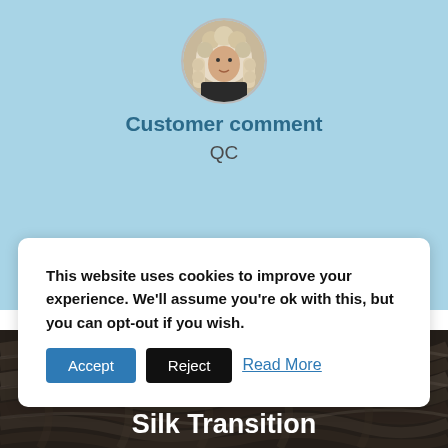[Figure (photo): Circular avatar photo of a person (judge/barrister) wearing a white wig]
Customer comment
QC
This website uses cookies to improve your experience. We'll assume you're ok with this, but you can opt-out if you wish.
Accept  Reject  Read More
[Figure (photo): Dark textured close-up photo of braided or woven natural fibre, possibly horsehair or rope]
Case Study: Junior to Silk Transition